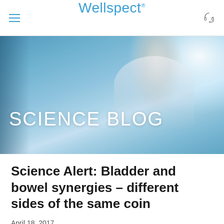Wellspect
[Figure (photo): Hero banner image of a smiling female medical professional in a white coat, with a blue-tinted hospital corridor background and text 'SCIENCE BLOG' overlaid in white]
Science Alert: Bladder and bowel synergies – different sides of the same coin
April 18, 2017